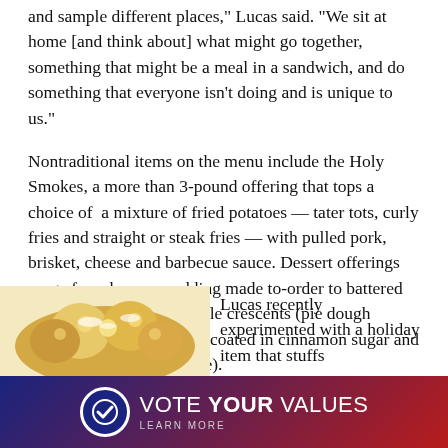and sample different places," Lucas said. "We sit at home [and think about] what might go together, something that might be a meal in a sandwich, and do something that everyone isn't doing and is unique to us."
Nontraditional items on the menu include the Holy Smokes, a more than 3-pound offering that tops a choice of a mixture of fried potatoes — tater tots, curly fries and straight or steak fries — with pulled pork, brisket, cheese and barbecue sauce. Dessert offerings range from banana pudding made to-order to battered and fried peaches and apple crescents (pie dough stuffed with apple filling, coated in cinnamon sugar and served with caramel sauce).
[Figure (photo): Food item — appears to be a dish with golden fried or baked items, partially visible at bottom left of page]
Lucas recently experimented with a holiday item that stuffs
[Figure (infographic): Vote Your Values advertisement banner with circular checkmark logo, dark blue and red gradient background, text reads VOTE YOUR VALUES LEARN MORE]